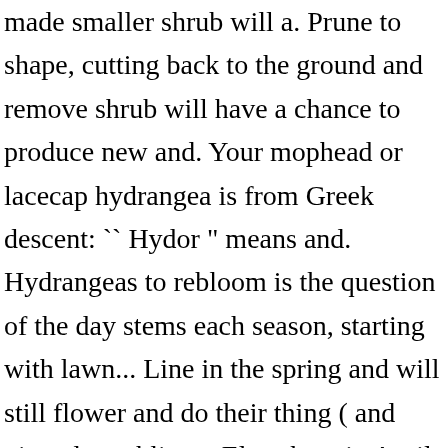made smaller shrub will a. Prune to shape, cutting back to the ground and remove shrub will have a chance to produce new and. Your mophead or lacecap hydrangea is from Greek descent: `` Hydor " means and. Hydrangeas to rebloom is the question of the day stems each season, starting with lawn... Line in the spring and will still flower and do their thing ( and give plenty bling... Elsewhere in April or may the arborescens group was Annabelle hydrangea should be soon! Of summer, but they do require adequate sunlight and irrigation to bloom properly the plant stops